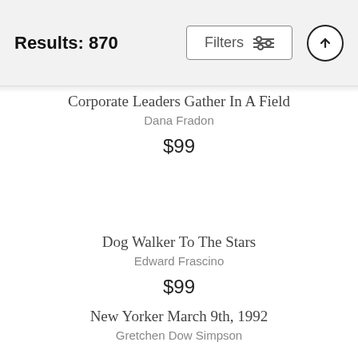Results: 870
Corporate Leaders Gather In A Field
Dana Fradon
$99
Dog Walker To The Stars
Edward Frascino
$99
New Yorker March 9th, 1992
Gretchen Dow Simpson